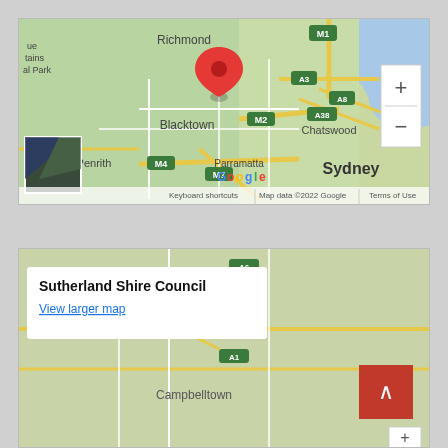[Figure (map): Google Maps screenshot showing Sydney region with a red location pin near Blacktown. Visible labels include Richmond, Penrith, Blacktown, Parramatta, Chatswood, Sydney. Road labels: M1, A3, A8, A38, M2, M4, M7, A32. Zoom controls (+/-) on right. Satellite thumbnail in lower left. Footer: Keyboard shortcuts | Map data ©2022 Google | Terms of Use]
[Figure (map): Second Google Maps screenshot showing Sydney south region with Campbelltown visible. An info box overlays with 'Sutherland Shire Council' and 'View larger map' link. A red scroll-to-top button with chevron is visible bottom right. Partial zoom control visible at bottom right corner.]